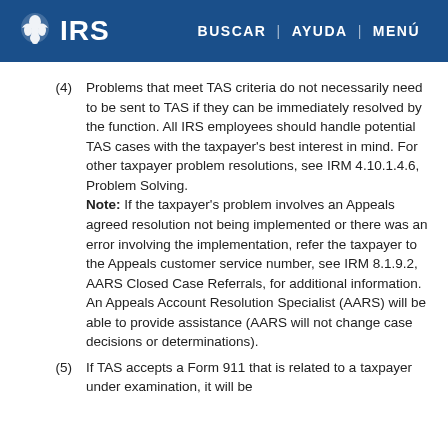IRS  BUSCAR | AYUDA | MENÚ
(4) Problems that meet TAS criteria do not necessarily need to be sent to TAS if they can be immediately resolved by the function. All IRS employees should handle potential TAS cases with the taxpayer's best interest in mind. For other taxpayer problem resolutions, see IRM 4.10.1.4.6, Problem Solving. Note: If the taxpayer's problem involves an Appeals agreed resolution not being implemented or there was an error involving the implementation, refer the taxpayer to the Appeals customer service number, see IRM 8.1.9.2, AARS Closed Case Referrals, for additional information. An Appeals Account Resolution Specialist (AARS) will be able to provide assistance (AARS will not change case decisions or determinations).
(5) If TAS accepts a Form 911 that is related to a taxpayer under examination, it will be